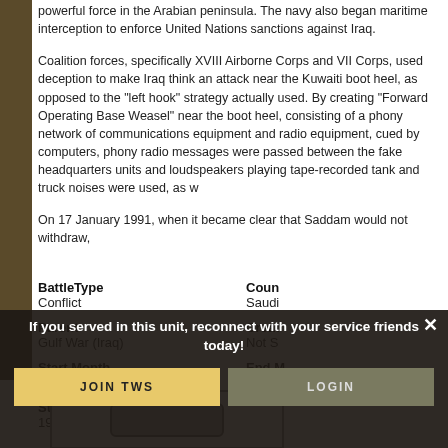powerful force in the Arabian peninsula. The navy also began maritime interception to enforce United Nations sanctions against Iraq.
Coalition forces, specifically XVIII Airborne Corps and VII Corps, used deception to make Iraq think an attack near the Kuwaiti boot heel, as opposed to the "left hook" strategy actually used. By creating "Forward Operating Base Weasel" near the boot heel, consisting of a phony network of communications equipment and radio equipment, cued by computers, phony radio messages were passed between the fake headquarters units and loudspeakers playing tape-recorded tank and truck noises were used, as well.
On 17 January 1991, when it became clear that Saddam would not withdraw,
| BattleType | Count (truncated) |
| --- | --- |
| Conflict | Saudi... |
| Parent | Created (truncated) |
| Gulf War (Iraq) | Not S... |
| Start Month | End M... |
| 8 | 1 |
| Start Year | End Y... |
| 1990 | 1991 |
[Figure (screenshot): Overlay modal with 'If you served in this unit, reconnect with your service friends today!' text, JOIN TWS and LOGIN buttons, and close X button.]